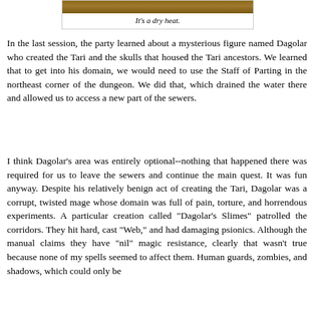[Figure (photo): Screenshot from a video game showing a desert or stone corridor scene with orange/brown tones]
It's a dry heat.
In the last session, the party learned about a mysterious figure named Dagolar who created the Tari and the skulls that housed the Tari ancestors. We learned that to get into his domain, we would need to use the Staff of Parting in the northeast corner of the dungeon. We did that, which drained the water there and allowed us to access a new part of the sewers.
I think Dagolar's area was entirely optional--nothing that happened there was required for us to leave the sewers and continue the main quest. It was fun anyway. Despite his relatively benign act of creating the Tari, Dagolar was a corrupt, twisted mage whose domain was full of pain, torture, and horrendous experiments. A particular creation called "Dagolar's Slimes" patrolled the corridors. They hit hard, cast "Web," and had damaging psionics. Although the manual claims they have "nil" magic resistance, clearly that wasn't true because none of my spells seemed to affect them. Human guards, zombies, and shadows, which could only be